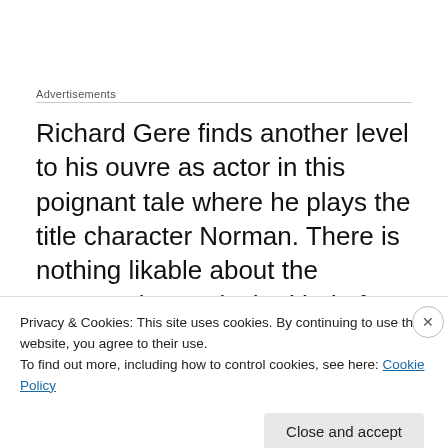Advertisements
Richard Gere finds another level to his ouvre as actor in this poignant tale where he plays the title character Norman. There is nothing likable about the protagonist. He is the kind of social wannabe you want to avoid like the plague. He is disgusting and eminently detestable. The masterstroke of Gere is that it is he who plays the character to perfection and arouses in you the
Privacy & Cookies: This site uses cookies. By continuing to use this website, you agree to their use.
To find out more, including how to control cookies, see here: Cookie Policy
Close and accept